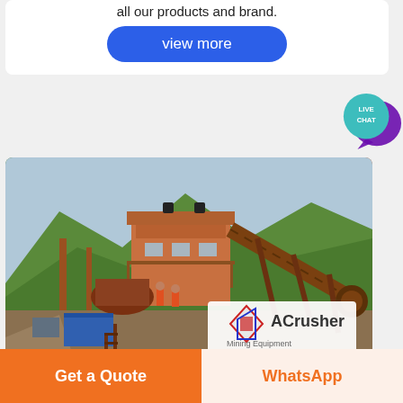all our products and brand.
view more
[Figure (infographic): Live Chat button/bubble icon in teal/purple]
[Figure (photo): Mining crushing equipment plant with orange/rust colored structure, conveyor belts, control tower, workers, forest and mountain background. ACrusher Mining Equipment logo in bottom right.]
...feasibility study of artificial sand making...
Get a Quote
WhatsApp